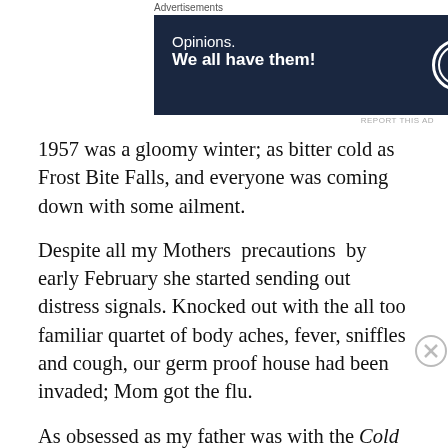Advertisements
[Figure (infographic): Advertisement banner: dark navy background with text 'Opinions. We all have them!' and WordPress logo circle plus a round badge on the right.]
REPORT THIS AD
1957 was a gloomy winter; as bitter cold as Frost Bite Falls, and everyone was coming down with some ailment.
Despite all my Mothers precautions by early February she started sending out distress signals. Knocked out with the all too familiar quartet of body aches, fever, sniffles and cough, our germ proof house had been invaded; Mom got the flu.
As obsessed as my father was with the Cold War, my mother was equally concerned about the war on colds.
Advertisements
[Figure (infographic): Advertisement banner for Macy's: red background with text 'KISS BORING LIPS GOODBYE', 'SHOP NOW' button, and Macy's star logo. Photo of woman's lips.]
REPORT THIS AD